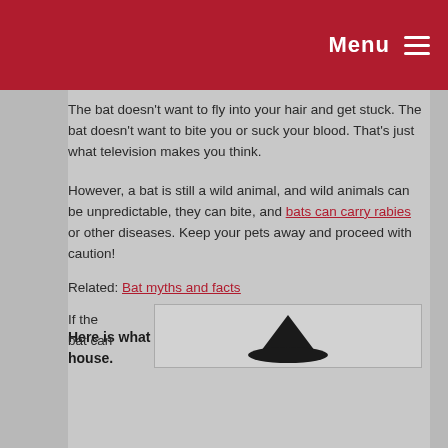Menu
The bat doesn't want to fly into your hair and get stuck. The bat doesn't want to bite you or suck your blood. That's just what television makes you think.
However, a bat is still a wild animal, and wild animals can be unpredictable, they can bite, and bats can carry rabies or other diseases. Keep your pets away and proceed with caution!
Related: Bat myths and facts
Here is what you can do to get that bat out of your house.
If the bat can
[Figure (photo): A bat silhouette image on a light background]